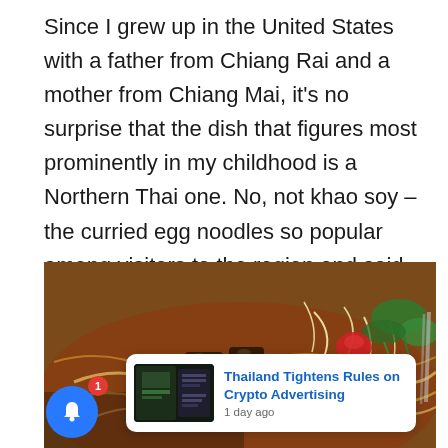Since I grew up in the United States with a father from Chiang Rai and a mother from Chiang Mai, it's no surprise that the dish that figures most prominently in my childhood is a Northern Thai one. No, not khao soy – the curried egg noodles so popular among visitors to the region and said by some to have originated in Chiang Mai.
[Figure (photo): Close-up photograph of a Thai noodle dish, likely khao soy or similar, with broth, noodles, bean sprouts, green herbs, red tomato, and dark braised meat pieces on a plate. A news popup overlay appears at the bottom showing a notification bell and a news card.]